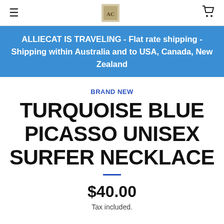≡  [logo]  🛒
ALLIECAT IS TRAVELING - Flat rate shipping - Shipping within Australia and to USA, Canada, New Zealand
BRAND NEW
TURQUOISE BLUE PICASSO UNISEX SURFER NECKLACE
$40.00
Tax included.